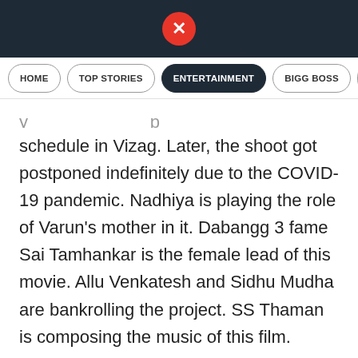[Figure (logo): Website logo: red circle with white X on dark navy header bar]
HOME | TOP STORIES | ENTERTAINMENT | BIGG BOSS | ...
schedule in Vizag. Later, the shoot got postponed indefinitely due to the COVID-19 pandemic. Nadhiya is playing the role of Varun's mother in it. Dabangg 3 fame Sai Tamhankar is the female lead of this movie. Allu Venkatesh and Sidhu Mudha are bankrolling the project. SS Thaman is composing the music of this film.
ALSO READ: Rumour: Kannada star hero